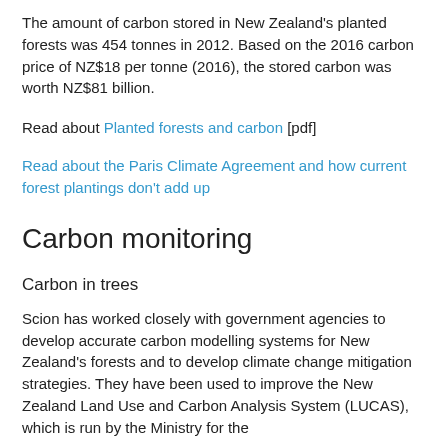The amount of carbon stored in New Zealand's planted forests was 454 tonnes in 2012. Based on the 2016 carbon price of NZ$18 per tonne (2016), the stored carbon was worth NZ$81 billion.
Read about Planted forests and carbon [pdf]
Read about the Paris Climate Agreement and how current forest plantings don't add up
Carbon monitoring
Carbon in trees
Scion has worked closely with government agencies to develop accurate carbon modelling systems for New Zealand's forests and to develop climate change mitigation strategies. They have been used to improve the New Zealand Land Use and Carbon Analysis System (LUCAS), which is run by the Ministry for the